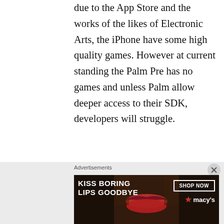due to the App Store and the works of the likes of Electronic Arts, the iPhone have some high quality games. However at current standing the Palm Pre has no games and unless Palm allow deeper access to their SDK, developers will struggle.
Show off factor, Yes it may seem a strange thing to compare but if you pull an iPhone out people are drawn to it, they want to see the Apps they've seen on TV and heard everyone talk about, but with the Palm Pre people will just assume it's just another touchscreen phone.
The Palm Pre does come with a 3 Megapixel
Advertisements
[Figure (illustration): Macy's advertisement banner: 'KISS BORING LIPS GOODBYE' with a photo of lips and a 'SHOP NOW' button with Macy's star logo on dark background.]